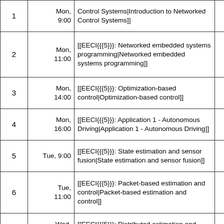| # | Time | Topic |  |
| --- | --- | --- | --- |
| 1 | Mon, 9:00 | [[EECI{{{5}}}: Introduction to Networked Control Systems|Introduction to Networked Control Systems]] |  |
| 2 | Mon, 11:00 | [[EECI{{{5}}}: Networked embedded systems programming|Networked embedded systems programming]] |  |
| 3 | Mon, 14:00 | [[EECI{{{5}}}: Optimization-based control|Optimization-based control]] |  |
| 4 | Mon, 16:00 | [[EECI{{{5}}}: Application 1 - Autonomous Driving|Application 1 - Autonomous Driving]] |  |
| 5 | Tue, 9:00 | [[EECI{{{5}}}: State estimation and sensor fusion|State estimation and sensor fusion]] |  |
| 6 | Tue, 11:00 | [[EECI{{{5}}}: Packet-based estimation and control|Packet-based estimation and control]] |  |
| 7 | Wed, 9:00 | [[EECI{{{5}}}: Distributed estimation and control|Distributed estimation and control]] |  |
| 8 | Wed, 9:00 | [[EECI{{{5}}}: Distributed receding horizon control|Distributed receding horizon control]] |  |
| 9 | Wed, 14:00 | [[EECI{{{5}}}: Information flow and consensus|Information flow and consensus]] |  |
| 10 | Wed, | [[EECI{{{5}}}: Formation control in multi-agent |  |